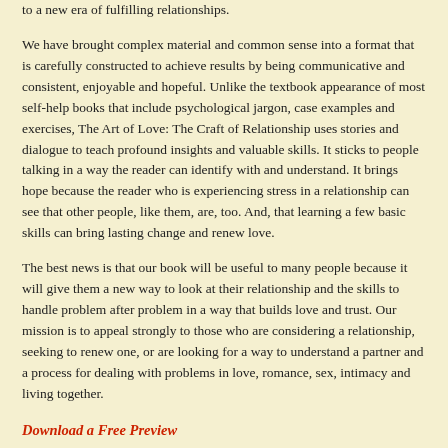to a new era of fulfilling relationships.
We have brought complex material and common sense into a format that is carefully constructed to achieve results by being communicative and consistent, enjoyable and hopeful. Unlike the textbook appearance of most self-help books that include psychological jargon, case examples and exercises, The Art of Love: The Craft of Relationship uses stories and dialogue to teach profound insights and valuable skills. It sticks to people talking in a way the reader can identify with and understand. It brings hope because the reader who is experiencing stress in a relationship can see that other people, like them, are, too. And, that learning a few basic skills can bring lasting change and renew love.
The best news is that our book will be useful to many people because it will give them a new way to look at their relationship and the skills to handle problem after problem in a way that builds love and trust. Our mission is to appeal strongly to those who are considering a relationship, seeking to renew one, or are looking for a way to understand a partner and a process for dealing with problems in love, romance, sex, intimacy and living together.
Download a Free Preview
About the Author
Massimilla and Bud Harris are diplomates of the C.G. Jung Institute in Zurich, Switzerland. They are practicing Jungian analysts in Asheville, NC., and lecture extensively. Bud Harris is also the author of several